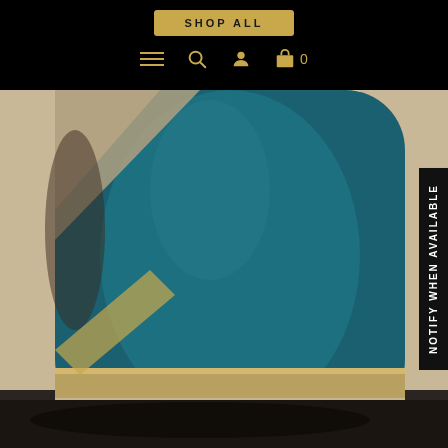SHOP ALL
[Figure (screenshot): E-commerce website header with black background showing a golden 'SHOP ALL' button and navigation icons (hamburger menu, search, user account, shopping bag with 0 count) in gold color]
[Figure (photo): Close-up product photo of a teal/dark cyan suede boot or shoe with diagonal gold/metallic leather panel accents against a beige/cream background]
NOTIFY WHEN AVAILABLE